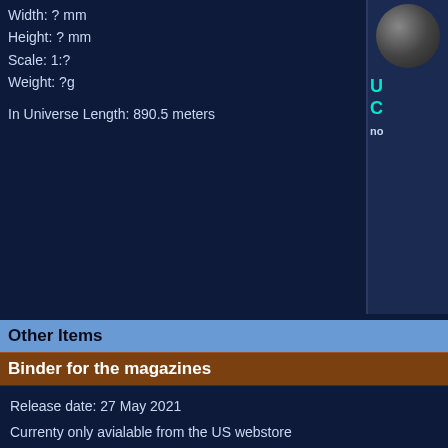Width: ? mm
Height: ? mm
Scale: 1:?
Weight: ?g
In Universe Length: 890.5 meters
[Figure (photo): Partial image of a grey sphere/moon and teal text overlay on dark blue background, cropped on the right side of the page]
Other Items
Binder for the magazines
Release date: 27 May 2021
Currenty only avialable from the US webstore